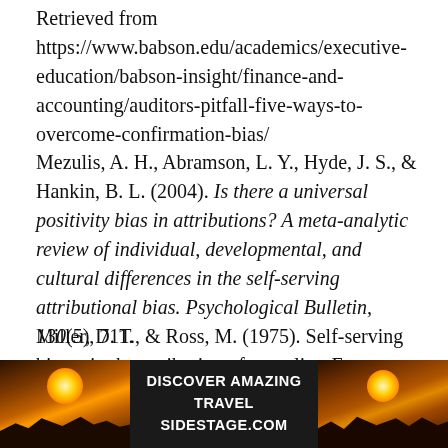Retrieved from https://www.babson.edu/academics/executive-education/babson-insight/finance-and-accounting/auditors-pitfall-five-ways-to-overcome-confirmation-bias/
Mezulis, A. H., Abramson, L. Y., Hyde, J. S., & Hankin, B. L. (2004). Is there a universal positivity bias in attributions? A meta-analytic review of individual, developmental, and cultural differences in the self-serving attributional bias. Psychological Bulletin, 130(5), 711.
Miller, D. T., & Ross, M. (1975). Self-serving biases in the attribution of causality: Fact or fiction?. Psychological Bulletin, 82(2), 213.
[Figure (infographic): Advertisement banner with sunset/travel imagery on left and right sides and text 'DISCOVER AMAZING TRAVEL SIDESTAGE.COM' in the center on dark background.]